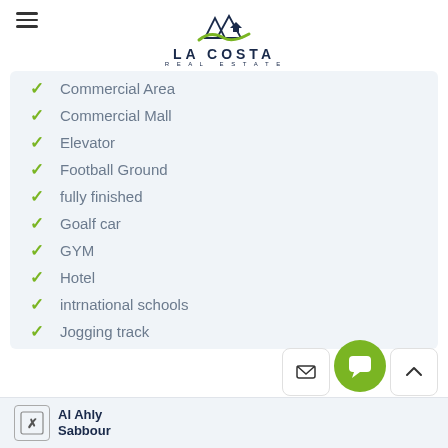LA COSTA REAL ESTATE
Commercial Area
Commercial Mall
Elevator
Football Ground
fully finished
Goalf car
GYM
Hotel
intrnational schools
Jogging track
Al Ahly Sabbour